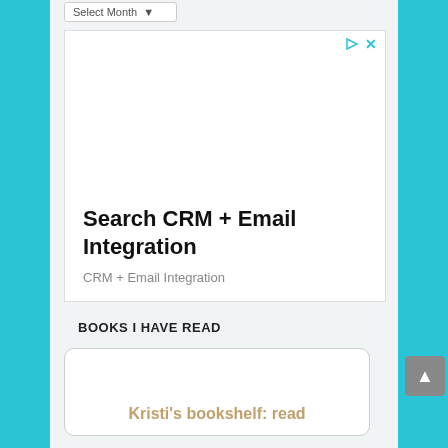[Figure (screenshot): Select Month dropdown widget at the top of a sidebar]
[Figure (screenshot): Advertisement box with play and close icons, headline 'Search CRM + Email Integration', subtext 'CRM + Email Integration']
BOOKS I HAVE READ
[Figure (screenshot): Book shelf card widget with text "Kristi's bookshelf: read"]